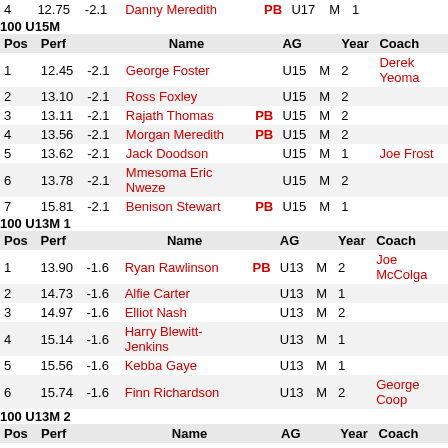| Pos | Perf |  | Name |  | AG |  | Year | Coach |
| --- | --- | --- | --- | --- | --- | --- | --- | --- |
| 4 | 12.75 | -2.1 | Danny Meredith | PB | U17 | M | 1 |  |
100 U15M
| Pos | Perf |  | Name |  | AG |  | Year | Coach |
| --- | --- | --- | --- | --- | --- | --- | --- | --- |
| 1 | 12.45 | -2.1 | George Foster |  | U15 | M | 2 | Derek Yeoma |
| 2 | 13.10 | -2.1 | Ross Foxley |  | U15 | M | 2 |  |
| 3 | 13.11 | -2.1 | Rajath Thomas | PB | U15 | M | 2 |  |
| 4 | 13.56 | -2.1 | Morgan Meredith | PB | U15 | M | 2 |  |
| 5 | 13.62 | -2.1 | Jack Doodson |  | U15 | M | 1 | Joe Frost |
| 6 | 13.78 | -2.1 | Mmesoma Eric Nweze |  | U15 | M | 2 |  |
| 7 | 15.81 | -2.1 | Benison Stewart | PB | U15 | M | 1 |  |
100 U13M 1
| Pos | Perf |  | Name |  | AG |  | Year | Coach |
| --- | --- | --- | --- | --- | --- | --- | --- | --- |
| 1 | 13.90 | -1.6 | Ryan Rawlinson | PB | U13 | M | 2 | Joe McColga |
| 2 | 14.73 | -1.6 | Alfie Carter |  | U13 | M | 1 |  |
| 3 | 14.97 | -1.6 | Elliot Nash |  | U13 | M | 2 |  |
| 4 | 15.14 | -1.6 | Harry Blewitt-Jenkins |  | U13 | M | 1 |  |
| 5 | 15.56 | -1.6 | Kebba Gaye |  | U13 | M | 1 |  |
| 6 | 15.74 | -1.6 | Finn Richardson |  | U13 | M | 2 | George Coop |
100 U13M 2
| Pos | Perf |  | Name |  | AG |  | Year | Coach |
| --- | --- | --- | --- | --- | --- | --- | --- | --- |
| 1 | 14.92 | -1.5 | Ethan Pender |  | U13 | M | 2 | Neil Fowler |
| 2 | 15.19 | -1.5 | Freddie Kugelmann |  | U13 | M | 2 |  |
| 3 | 15.37 | -1.5 | Alfie Sheldon |  | U13 | M | 2 |  |